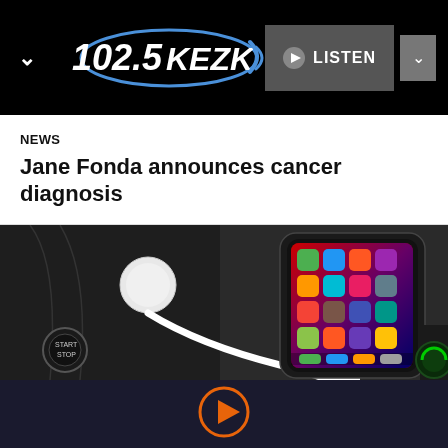[Figure (logo): 102.5 KEZK radio station logo in blue and white on black background with navigation chevron]
NEWS
Jane Fonda announces cancer diagnosis
[Figure (photo): iPhone connected with white Lightning cable on dark car interior console, showing colorful app grid on screen, with engine start/stop button visible in background]
[Figure (other): Orange circle play button icon on dark navy background at bottom of screen]